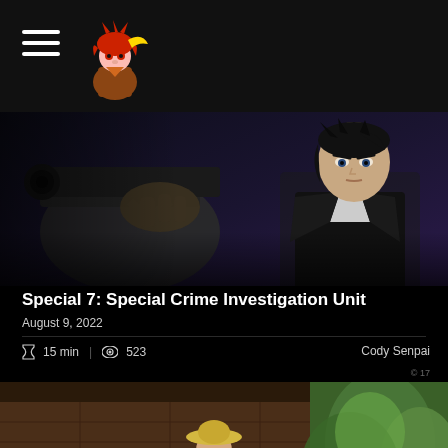Menu navigation header with hamburger icon and anime character logo
[Figure (screenshot): Anime screenshot from Special 7: Special Crime Investigation Unit showing a dark-haired man in a suit aiming a gun at the viewer in a dark setting]
Special 7: Special Crime Investigation Unit
August 9, 2022
⌛ 15 min  |  👁 523    Cody Senpai
[Figure (screenshot): Anime screenshot from Only Yesterday showing children playing in a rural barn setting with orange hand-shaped props]
Only Yesterday
July 26, 2022